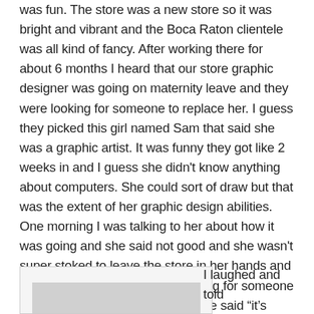was fun. The store was a new store so it was bright and vibrant and the Boca Raton clientele was all kind of fancy. After working there for about 6 months I heard that our store graphic designer was going on maternity leave and they were looking for someone to replace her. I guess they picked this girl named Sam that said she was a graphic artist. It was funny they got like 2 weeks in and I guess she didn't know anything about computers. She could sort of draw but that was the extent of her graphic design abilities. One morning I was talking to her about how it was going and she said not good and she wasn't super stoked to leave the store in her hands and that they were going to start looking for someone else. I asked more about it and she said “it’s hard to find someone that knows how to work on a Mac apparently”.
[Figure (photo): Partial image of what appears to be a computer or device, shown at bottom left of page, cropped]
I laughed and told